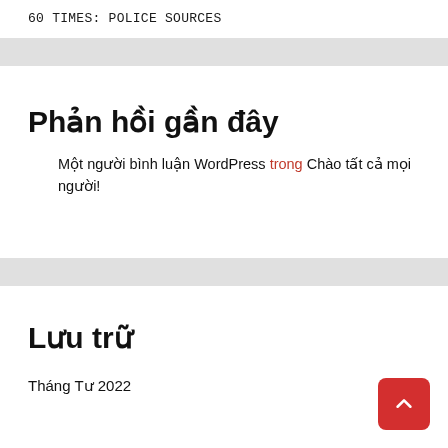60 TIMES: POLICE SOURCES
Phản hồi gần đây
Một người bình luận WordPress trong Chào tất cả mọi người!
Lưu trữ
Tháng Tư 2022